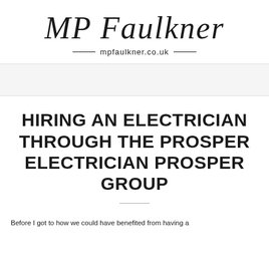MP Faulkner
mpfaulkner.co.uk
HIRING AN ELECTRICIAN THROUGH THE PROSPER ELECTRICIAN PROSPER GROUP
Before I got to how we could have benefited from having a